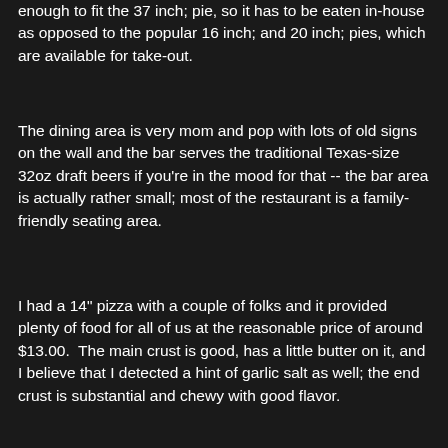enough to fit the 37 inch; pie, so it has to be eaten in-house as opposed to the popular 16 inch; and 20 inch; pies, which are available for take-out.
The dining area is very mom and pop with lots of old signs on the wall and the bar serves the traditional Texas-size 32oz draft beers if you're in the mood for that -- the bar area is actually rather small; most of the restaurant is a family-friendly seating area.
I had a 14" pizza with a couple of folks and it provided plenty of food for all of us at the reasonable price of around $13.00.  The main crust is good, has a little butter on it, and I believe that I detected a hint of garlic salt as well; the end crust is substantial and chewy with good flavor.